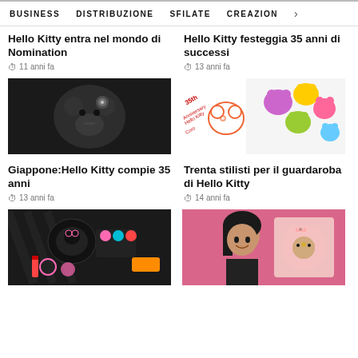BUSINESS   DISTRIBUZIONE   SFILATE   CREAZION  >
Hello Kitty entra nel mondo di Nomination
11 anni fa
Hello Kitty festeggia 35 anni di successi
13 anni fa
[Figure (photo): Close-up of silver crystal Hello Kitty figure on dark background]
Giappone:Hello Kitty compie 35 anni
13 anni fa
[Figure (photo): Hello Kitty 35th anniversary colorful illustration with multiple Hello Kitty characters]
Trenta stilisti per il guardaroba di Hello Kitty
14 anni fa
[Figure (photo): Hello Kitty themed makeup cosmetics in black and pink on zebra print background]
[Figure (photo): Young woman holding a pink Hello Kitty themed item with crystal decoration]